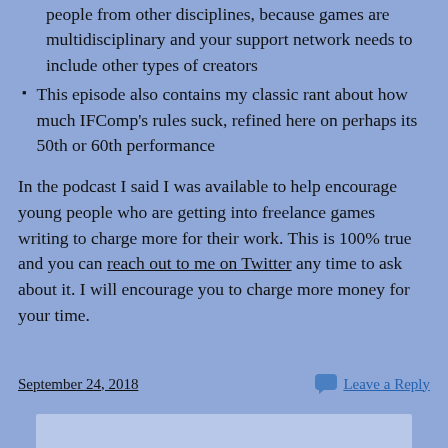people from other disciplines, because games are multidisciplinary and your support network needs to include other types of creators
This episode also contains my classic rant about how much IFComp's rules suck, refined here on perhaps its 50th or 60th performance
In the podcast I said I was available to help encourage young people who are getting into freelance games writing to charge more for their work. This is 100% true and you can reach out to me on Twitter any time to ask about it. I will encourage you to charge more money for your time.
September 24, 2018   Leave a Reply